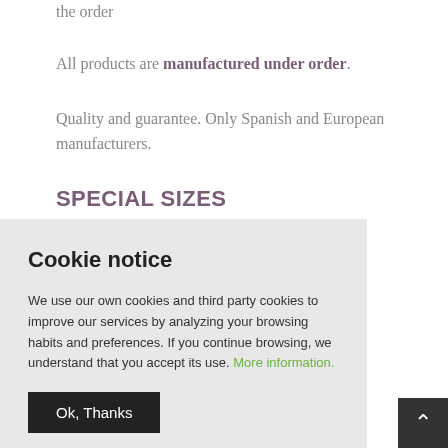the order
All products are manufactured under order.
Quality and guarantee. Only Spanish and European manufacturers.
SPECIAL SIZES
Cookie notice
We use our own cookies and third party cookies to improve our services by analyzing your browsing habits and preferences. If you continue browsing, we understand that you accept its use. More information.
Ok, Thanks